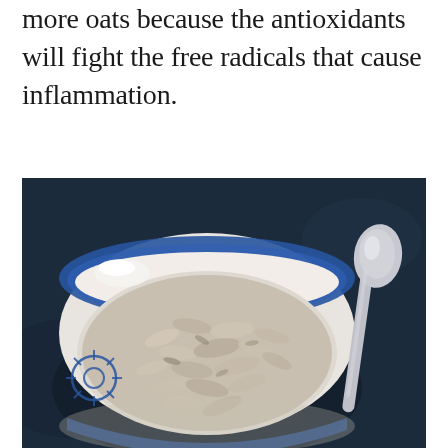more oats because the antioxidants will fight the free radicals that cause inflammation.
[Figure (photo): A white ceramic bowl with blue painted decorative design, filled with rolled oats/oatmeal, placed on a dark blue surface. A silver spoon is visible to the right of the bowl.]